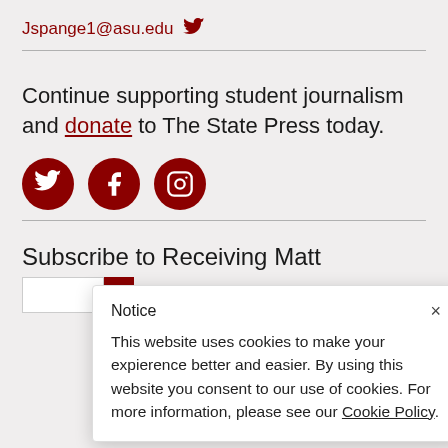Jspange1@asu.edu [Twitter icon]
Continue supporting student journalism and donate to The State Press today.
[Figure (infographic): Three dark red social media icon circles: Twitter, Facebook, Instagram]
Su[bscribe to Receiving Matt...]
Notice
×
This website uses cookies to make your expierence better and easier. By using this website you consent to our use of cookies. For more information, please see our Cookie Policy.